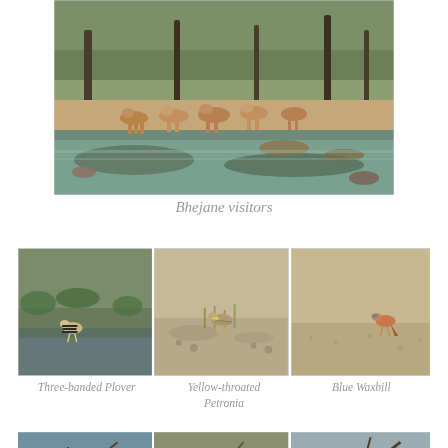[Figure (photo): A herd of impalas at a muddy watering hole surrounded by trees and brush in an African game reserve (Bhejane). Animals are drinking and gathered near the water.]
Bhejane visitors
[Figure (photo): Three side-by-side wildlife photos: left shows a Three-banded Plover bird on muddy ground near water and vegetation; center shows a Yellow-throated Petronia bird perched among plants; right shows a Blue Waxbill bird on sandy ground.]
Three-banded Plover    Yellow-throated Petronia    Blue Waxbill
[Figure (photo): Three side-by-side wildlife photos of birds perched in thorny trees/branches, partially visible at the bottom of the page.]